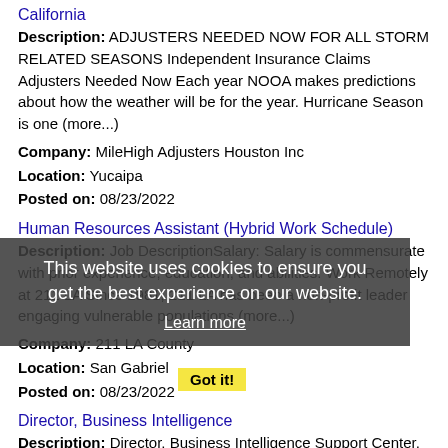California
Description: ADJUSTERS NEEDED NOW FOR ALL STORM RELATED SEASONS Independent Insurance Claims Adjusters Needed Now Each year NOOA makes predictions about how the weather will be for the year. Hurricane Season is one (more...)
Company: MileHigh Adjusters Houston Inc
Location: Yucaipa
Posted on: 08/23/2022
Human Resources Assistant (Hybrid Work Schedule)
Description: Job DescriptionSalary: Salary is commensurate with prior experience, education, and abilities. Work Remotely at 211 LA Since 1981, 211 LA has been a non-profit leader engaging vulnerable populations (more...)
Company: 211 LA County
Location: San Gabriel
Posted on: 08/23/2022
Director, Business Intelligence
Description: Director, Business Intelligence Support Center, Rosemead, CALIFORNIA, UNITED STATES https://pandarg.referrals.selectminds.com/jobs/42200/other-jobs-matching/location-only Business System Analysis (more...)
Company: Panda Express
This website uses cookies to ensure you get the best experience on our website. Learn more Got it!